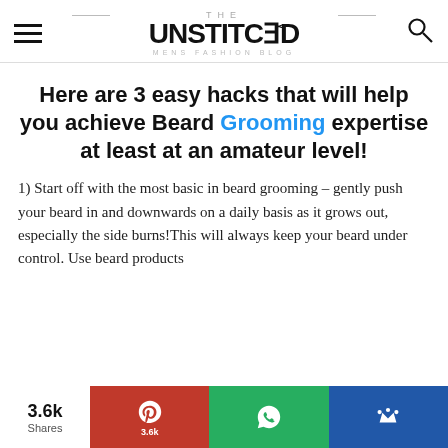THE UNSTITCHED — MENS FASHION BLOG
Here are 3 easy hacks that will help you achieve Beard Grooming expertise at least at an amateur level!
1) Start off with the most basic in beard grooming – gently push your beard in and downwards on a daily basis as it grows out, especially the side burns!This will always keep your beard under control. Use beard products
3.6k Shares | Pinterest 3.6k | WhatsApp | Royal